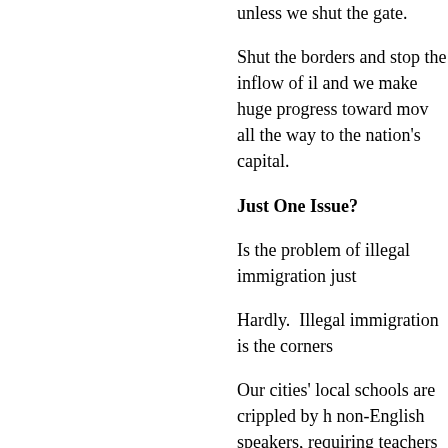unless we shut the gate.
Shut the borders and stop the inflow of il and we make huge progress toward mo all the way to the nation's capital.
Just One Issue?
Is the problem of illegal immigration just
Hardly.  Illegal immigration is the corners
Our cities' local schools are crippled by h non-English speakers, requiring teachers lowering the quality of education that we immigrants.  Without the illegals, our citie but they would be manageable.
Our elections are stolen by massive vote cast ballots by their La Raza and Acorn s for corrupt party workers to mine, as des driven from polling station to polling stati losing their patronage jobs, benefits, or p
Our nation and our allies are attacked da movements, from single bombers and lo revolutionary movements from West Afri